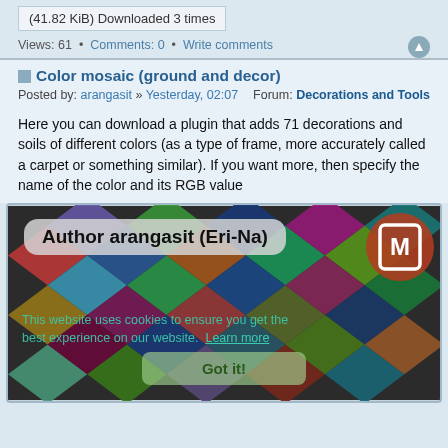(41.82 KiB) Downloaded 3 times
Views: 61 • Comments: 0 • Write comments
Color mosaic (ground and decor)
Posted by: arangasit » Yesterday, 02:07    Forum: Decorations and Tools
Here you can download a plugin that adds 71 decorations and soils of different colors (as a type of frame, more accurately called a carpet or something similar). If you want more, then specify the name of the color and its RGB value
[Figure (photo): Color mosaic image showing diamond-shaped tiles in various colors with 'Author arangasit (Eri-Na)' banner overlay and a cookie consent overlay reading 'This website uses cookies to ensure you get the best experience on our website. Learn more' with a 'Got it!' button.]